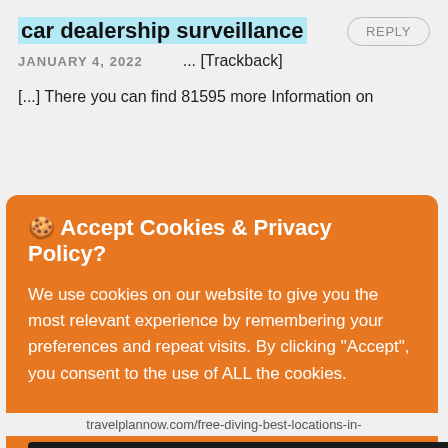car dealership surveillance
REPLY
JANUARY 4, 2022
... [Trackback]
[...] There you can find 81595 more Information on
🍪 Accept Cookies & Privacy Policy?
We use cookies on our website to give you the most relevant experience by remembering your preferences and repeat visits. By clicking "Accept", you consent to the use of ALL the cookies.
ACCEPT COOKIES
CUSTOMISE COOKIES
travelplannow.com/free-diving-best-locations-in-